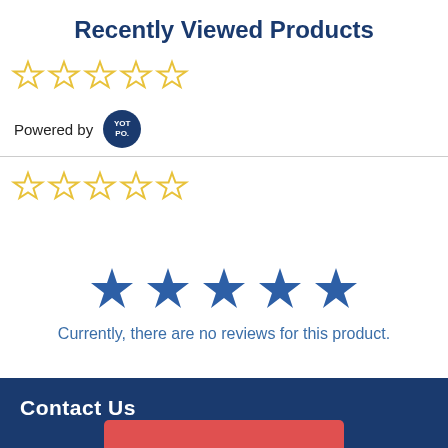Recently Viewed Products
[Figure (other): Five empty star rating icons (outline only, yellow) in a row]
Powered by YOTPO.
[Figure (other): Five empty star rating icons (outline only, yellow) in a row]
[Figure (other): Five filled blue star rating icons in a row, centered]
Currently, there are no reviews for this product.
Contact Us